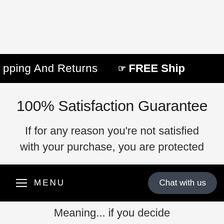pping And Returns  ☞FREE Ship
100% Satisfaction Guarantee
If for any reason you're not satisfied with your purchase, you are protected
≡ MENU   Chat with us
Meaning... if you decide